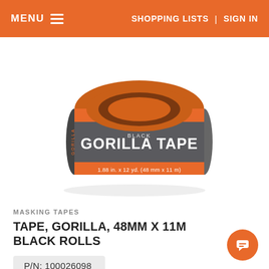MENU  SHOPPING LISTS | SIGN IN
[Figure (photo): Roll of Black Gorilla Tape, 1.88 in. x 12 yd. (48 mm x 11 m), shown from a slight angle on a white background]
MASKING TAPES
TAPE, GORILLA, 48MM X 11M BLACK ROLLS
P/N: 100026098
$17.65 inc. GST